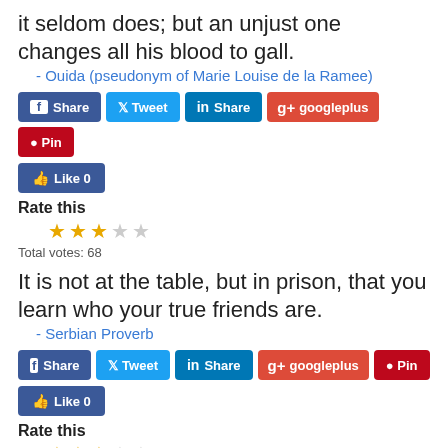it seldom does; but an unjust one changes all his blood to gall.
- Ouida (pseudonym of Marie Louise de la Ramee)
[Figure (screenshot): Social share buttons: Facebook Share, Twitter Tweet, LinkedIn Share, Google Plus, Pinterest Pin, Facebook Like 0]
Rate this
[Figure (other): 3 filled stars and 2 empty stars rating widget]
Total votes: 68
It is not at the table, but in prison, that you learn who your true friends are.
- Serbian Proverb
[Figure (screenshot): Social share buttons: Facebook Share, Twitter Tweet, LinkedIn Share, Google Plus, Pinterest Pin, Facebook Like 0]
Rate this
[Figure (other): 3 filled stars and 2 empty stars rating widget]